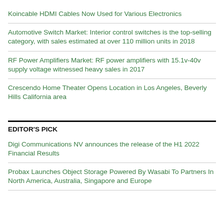Koincable HDMI Cables Now Used for Various Electronics
Automotive Switch Market: Interior control switches is the top-selling category, with sales estimated at over 110 million units in 2018
RF Power Amplifiers Market: RF power amplifiers with 15.1v-40v supply voltage witnessed heavy sales in 2017
Crescendo Home Theater Opens Location in Los Angeles, Beverly Hills California area
EDITOR'S PICK
Digi Communications NV announces the release of the H1 2022 Financial Results
Probax Launches Object Storage Powered By Wasabi To Partners In North America, Australia, Singapore and Europe